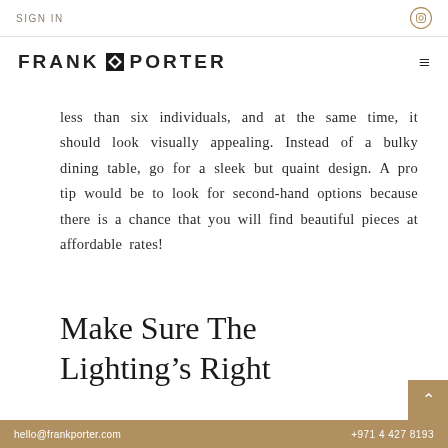SIGN IN
[Figure (logo): Frank Porter logo with stylized bird/key icon between FRANK and PORTER text]
less than six individuals, and at the same time, it should look visually appealing. Instead of a bulky dining table, go for a sleek but quaint design. A pro tip would be to look for second-hand options because there is a chance that you will find beautiful pieces at affordable rates!
Make Sure The Lighting’s Right
hello@frankporter.com  +971 4 427 8193